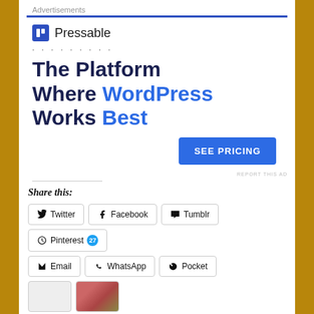Advertisements
[Figure (other): Pressable advertisement: The Platform Where WordPress Works Best. SEE PRICING button.]
REPORT THIS AD
Share this:
Twitter
Facebook
Tumblr
Pinterest 27
Email
WhatsApp
Pocket